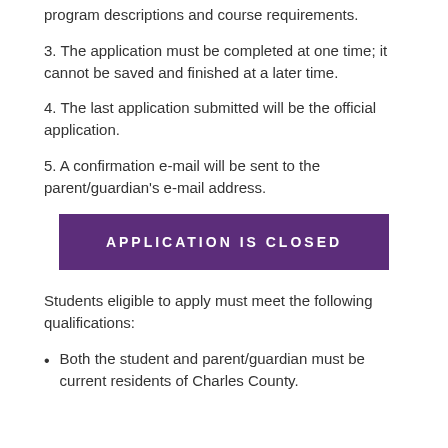program descriptions and course requirements.
3. The application must be completed at one time; it cannot be saved and finished at a later time.
4. The last application submitted will be the official application.
5. A confirmation e-mail will be sent to the parent/guardian's e-mail address.
[Figure (other): Purple button with text APPLICATION IS CLOSED]
Students eligible to apply must meet the following qualifications:
Both the student and parent/guardian must be current residents of Charles County.